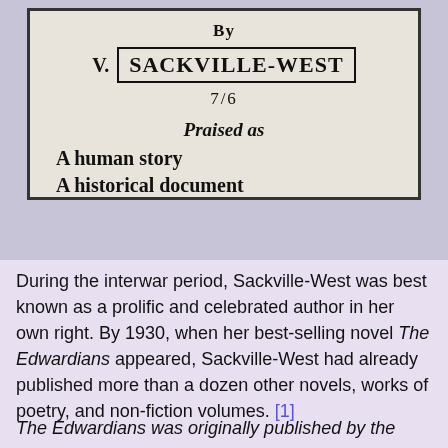[Figure (photo): Scanned book cover showing author credit 'By V. SACKVILLE-WEST' with price '7/6', and text 'Praised as A human story A historical document']
During the interwar period, Sackville-West was best known as a prolific and celebrated author in her own right. By 1930, when her best-selling novel The Edwardians appeared, Sackville-West had already published more than a dozen other novels, works of poetry, and non-fiction volumes. [1]
The Edwardians was originally published by the